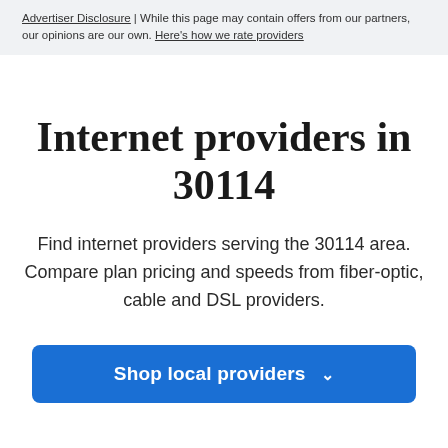Advertiser Disclosure | While this page may contain offers from our partners, our opinions are our own. Here's how we rate providers
Internet providers in 30114
Find internet providers serving the 30114 area. Compare plan pricing and speeds from fiber-optic, cable and DSL providers.
Shop local providers